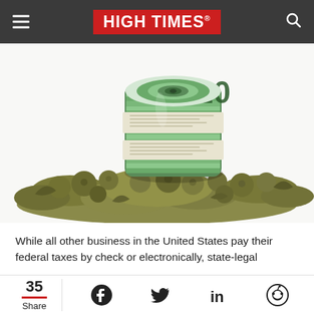HIGH TIMES
[Figure (photo): A rolled-up wad of US $20 dollar bills resting on a pile of marijuana cannabis buds on a white background.]
While all other business in the United States pay their federal taxes by check or electronically, state-legal
35 Share [Facebook] [Twitter] [LinkedIn] [Reddit]